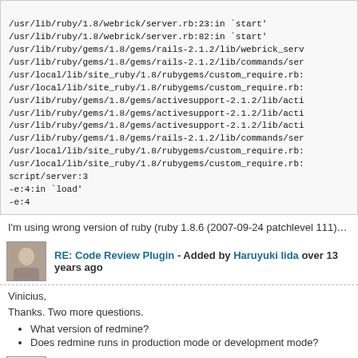/usr/lib/ruby/1.8/webrick/server.rb:23:in `start'
/usr/lib/ruby/1.8/webrick/server.rb:82:in `start'
/usr/lib/ruby/gems/1.8/gems/rails-2.1.2/lib/webrick_serv
/usr/lib/ruby/gems/1.8/gems/rails-2.1.2/lib/commands/ser
/usr/local/lib/site_ruby/1.8/rubygems/custom_require.rb:
/usr/local/lib/site_ruby/1.8/rubygems/custom_require.rb:
/usr/lib/ruby/gems/1.8/gems/activesupport-2.1.2/lib/acti
/usr/lib/ruby/gems/1.8/gems/activesupport-2.1.2/lib/acti
/usr/lib/ruby/gems/1.8/gems/activesupport-2.1.2/lib/acti
/usr/lib/ruby/gems/1.8/gems/rails-2.1.2/lib/commands/ser
/usr/local/lib/site_ruby/1.8/rubygems/custom_require.rb:
/usr/local/lib/site_ruby/1.8/rubygems/custom_require.rb:
script/server:3
-e:4:in `load'
-e:4
I'm using wrong version of ruby (ruby 1.8.6 (2007-09-24 patchlevel 111)) or rails
RE: Code Review Plugin - Added by Haruyuki Iida over 13 years ago
Vinicius,
Thanks. Two more questions.
What version of redmine?
Does redmine runs in production mode or development mode?
RE: Code Review Plugin - Added by Michael Diederich over 13 years a
Great plugin. Where could I contribute the missing translations?